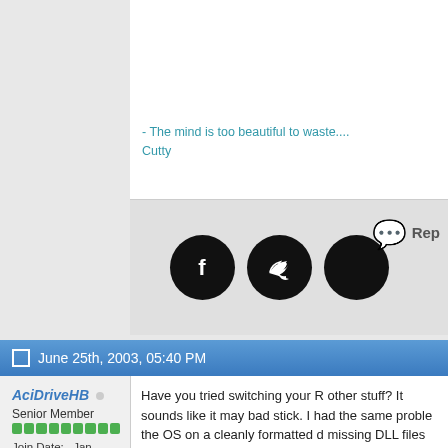- The mind is too beautiful to waste.... Cutty
[Figure (illustration): Social media icons: Facebook, Twitter, and a third black circle icon]
June 25th, 2003, 05:40 PM
AciDriveHB
Senior Member
Join Date: Jan 2003
Posts: 686
Have you tried switching your R other stuff? It sounds like it may bad stick. I had the same proble the OS on a cleanly formatted d missing DLL files left and right. my two sticks out and put one g that I knew worked and went fro and everything worked fine. The have to test each stick by itself  problem lies there afterwards.

Just s thought...
~AciD